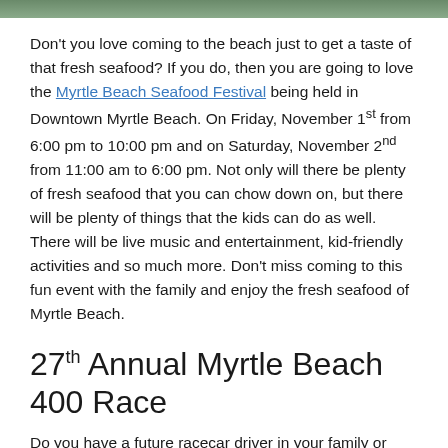[Figure (photo): Top portion of a photo, likely a beach or outdoor scene, showing a green/landscape strip at the top of the page.]
Don't you love coming to the beach just to get a taste of that fresh seafood? If you do, then you are going to love the Myrtle Beach Seafood Festival being held in Downtown Myrtle Beach. On Friday, November 1st from 6:00 pm to 10:00 pm and on Saturday, November 2nd from 11:00 am to 6:00 pm. Not only will there be plenty of fresh seafood that you can chow down on, but there will be plenty of things that the kids can do as well. There will be live music and entertainment, kid-friendly activities and so much more. Don't miss coming to this fun event with the family and enjoy the fresh seafood of Myrtle Beach.
27th Annual Myrtle Beach 400 Race
Do you have a future racecar driver in your family or have someone who loves trucks? Come join in the 27th Annual Myrtle